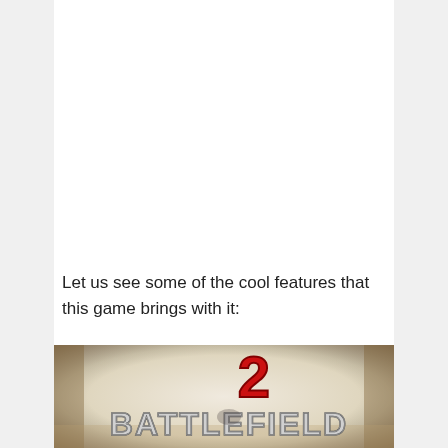Let us see some of the cool features that this game brings with it:
[Figure (illustration): Battlefield 2 game logo on a worn/distressed vintage-style background. A large red number '2' is visible above the text 'BATTLEFIELD' in bold metallic letters. The background has a weathered, aged paper texture with brownish edges.]